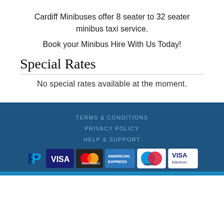Cardiff Minibuses offer 8 seater to 32 seater minibus taxi service.
Book your Minibus Hire With Us Today!
Special Rates
No special rates available at the moment.
TERMS & CONDITIONS
PRIVACY POLICY
HELP & SUPPORT
[Figure (other): Payment method icons: PayPal, Visa, MasterCard, American Express, Maestro, Visa Electron]